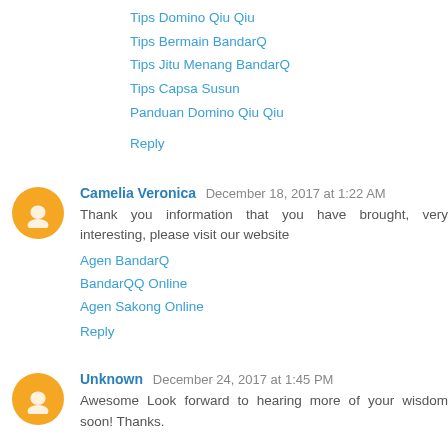Tips Domino Qiu Qiu
Tips Bermain BandarQ
Tips Jitu Menang BandarQ
Tips Capsa Susun
Panduan Domino Qiu Qiu
Reply
Camelia Veronica December 18, 2017 at 1:22 AM
Thank you information that you have brought, very interesting, please visit our website
Agen BandarQ
BandarQQ Online
Agen Sakong Online
Reply
Unknown December 24, 2017 at 1:45 PM
Awesome Look forward to hearing more of your wisdom soon! Thanks.